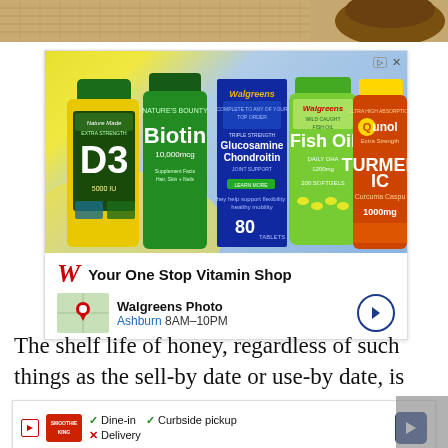[Figure (photo): Partial top image showing burlap/woven texture background with what appears to be a honey jar or vessel]
[Figure (screenshot): Walgreens advertisement showing vitamin supplement bottles (Nature Made D3, Nature's Bounty Biotin 10,000mcg, Walgreens Glucosamine Chondroitin, Walgreens Fish Oil, Qunol Extra Strength Turmeric 1000mg). Ad headline: 'Your One Stop Vitamin Shop'. Location info: Walgreens Photo, Ashburn 8AM-10PM with map thumbnail and arrow button.]
The shelf life of honey, regardless of such things as the sell-by date or use-by date, is very
[Figure (screenshot): Smoothie King advertisement showing dine-in, curbside pickup checkmarks and delivery with X mark, with navigation arrow button]